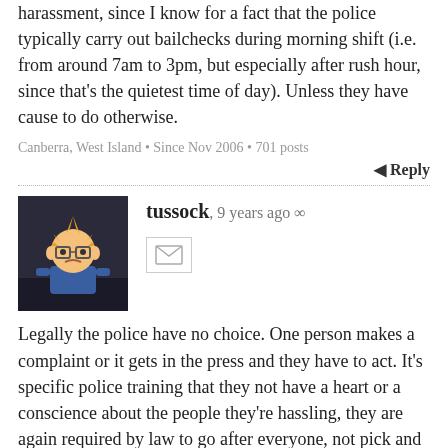harassment, since I know for a fact that the police typically carry out bailchecks during morning shift (i.e. from around 7am to 3pm, but especially after rush hour, since that's the quietest time of day). Unless they have cause to do otherwise.
Canberra, West Island • Since Nov 2006 • 701 posts
Reply
[Figure (photo): User avatar showing a cartoon spiky-haired character with glasses wearing a blue jacket]
tussock, 9 years ago ∞
Legally the police have no choice. One person makes a complaint or it gets in the press and they have to act. It's specific police training that they not have a heart or a conscience about the people they're hassling, they are again required by law to go after everyone, not pick and choose. The only maxim is they not waste their time on people they can't possibly convict of anything, like rich folk.
As everyone knows, they attract some bad-natured people to the force as a result. Those with a kind heart have a hard time enforcing all of our shitty